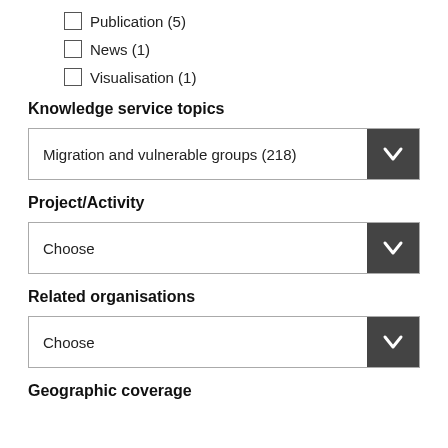Publication (5)
News (1)
Visualisation (1)
Knowledge service topics
Migration and vulnerable groups (218)
Project/Activity
Choose
Related organisations
Choose
Geographic coverage